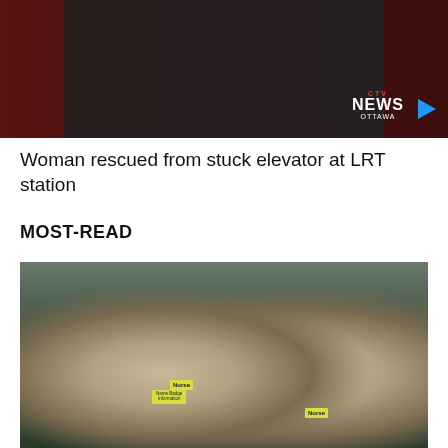[Figure (photo): News video thumbnail showing police/law enforcement figures in dark setting with CTV News Ottawa logo and play button]
Woman rescued from stuck elevator at LRT station
MOST-READ
[Figure (photo): Two nurses wearing masks, yellow PPE gowns, and yellow Nurse name badges standing with arms crossed in a large convention centre vaccination/medical facility]